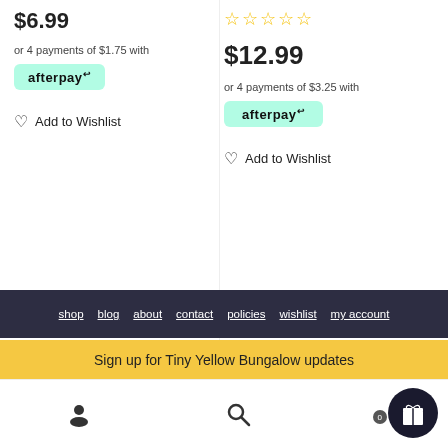$6.99
or 4 payments of $1.75 with
[Figure (logo): Afterpay logo button - mint green rounded rectangle with 'afterpay' text and link icon]
Add to Wishlist
[Figure (other): Five empty star rating icons in gold/yellow]
$12.99
or 4 payments of $3.25 with
[Figure (logo): Afterpay logo button - mint green rounded rectangle with 'afterpay' text and link icon]
Add to Wishlist
shop  blog  about  contact  policies  wishlist  my account
Sign up for Tiny Yellow Bungalow updates
user icon  search icon  cart icon (0)